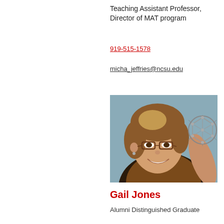Teaching Assistant Professor, Director of MAT program
919-515-1578
micha_jeffries@ncsu.edu
[Figure (photo): Portrait photo of a woman with short brown hair and glasses, smiling, holding a molecular model structure (buckyball/fullerene). She is wearing a patterned top and blazer. Background is blue-grey.]
Gail Jones
Alumni Distinguished Graduate